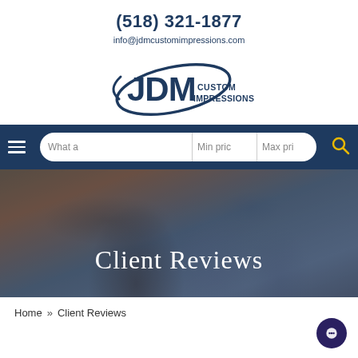(518) 321-1877
info@jdmcustomimpressions.com
[Figure (logo): JDM Custom Impressions logo with oval swoosh around JDM text and 'CUSTOM IMPRESSIONS' subtitle]
[Figure (screenshot): Navigation bar with hamburger menu icon, search bar with 'What a', 'Min price', 'Max price' fields, and yellow search icon]
[Figure (photo): Hero banner photo showing three people working together at a laptop with dark blue overlay and 'Client Reviews' title text]
Home » Client Reviews